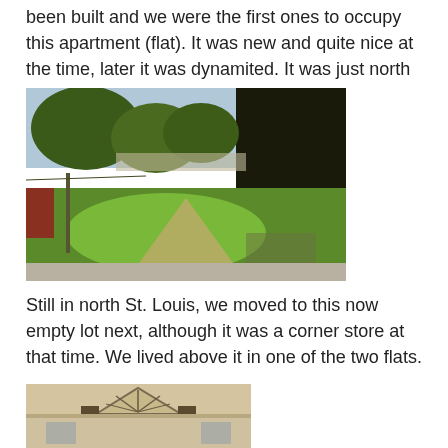been built and we were the first ones to occupy this apartment (flat).  It was new and quite nice at the time, later it was dynamited.  It was just north of downtown St. Louis.
[Figure (photo): Outdoor photo of an empty grassy lot with trees in the background and a sidewalk or road along the edge, taken in north St. Louis.]
Still in north St. Louis, we moved to this now empty lot next, although it was a corner store at that time.   We lived above it in one of the two flats.
[Figure (photo): Partial photo showing the upper portion of a building facade with a decorative arch or pediment detail, tan/beige colored building.]